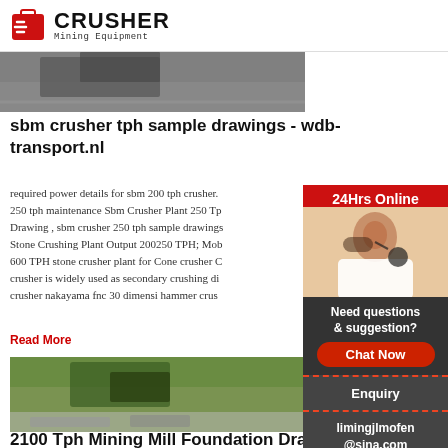[Figure (logo): Crusher Mining Equipment logo with red shopping bag icon and bold CRUSHER text]
[Figure (photo): Top partial photo of what appears to be mining/construction equipment]
sbm crusher tph sample drawings - wdb-transport.nl
required power details for sbm 200 tph crusher. 250 tph maintenance Sbm Crusher Plant 250 Tph Drawing , sbm crusher 250 tph sample drawings Stone Crushing Plant Output 200250 TPH; Mob 600 TPH stone crusher plant for Cone crusher C crusher is widely used as secondary crushing di crusher nakayama fnc 30 dimensi hammer crus
Read More
[Figure (photo): Photo of a mobile stone crushing plant in operation]
[Figure (infographic): Sidebar panel showing 24Hrs Online label, photo of customer service agent with headset, Need questions & suggestion? text, Chat Now button, Enquiry link, and limingjlmofen@sina.com email]
2100 Tph Mining Mill Foundation Drawing -